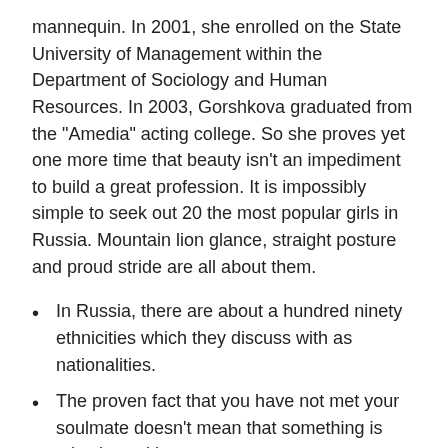mannequin. In 2001, she enrolled on the State University of Management within the Department of Sociology and Human Resources. In 2003, Gorshkova graduated from the "Amedia" acting college. So she proves yet one more time that beauty isn't an impediment to build a great profession. It is impossibly simple to seek out 20 the most popular girls in Russia. Mountain lion glance, straight posture and proud stride are all about them.
In Russia, there are about a hundred ninety ethnicities which they discuss with as nationalities.
The proven fact that you have not met your soulmate doesn't mean that something is mistaken with you.
They know how to current themselves and usually are not shy to do this.
After four years in a gaggle, she determined to go out on her personal in 2007.